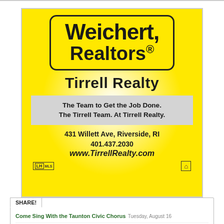[Figure (logo): Weichert Realtors - Tirrell Realty advertisement. Yellow background with Weichert Realtors in black box at top, Tirrell Realty below, slogan 'The Team to Get the Job Done. The Tirrell Team. At Tirrell Realty.', address 431 Willett Ave, Riverside, RI, phone 401.437.2030, website www.TirrellRealty.com]
SHARE!
Come Sing With the Taunton Civic Chorus Tuesday, August 16
Taunton Civic Chorus Opens a New Season with New Leadership Tuesday, August 16